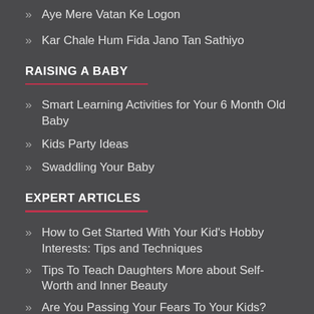Aye Mere Vatan Ke Logon
Kar Chale Hum Fida Jano Tan Sathiyo
RAISING A BABY
Smart Learning Activities for Your 6 Month Old Baby
Kids Party Ideas
Swaddling Your Baby
EXPERT ARTICLES
How to Get Started With Your Kid's Hobby Interests: Tips and Techniques
Tips To Teach Daughters More about Self-Worth and Inner Beauty
Are You Passing Your Fears To Your Kids? Here Is What You Can Do To Stop